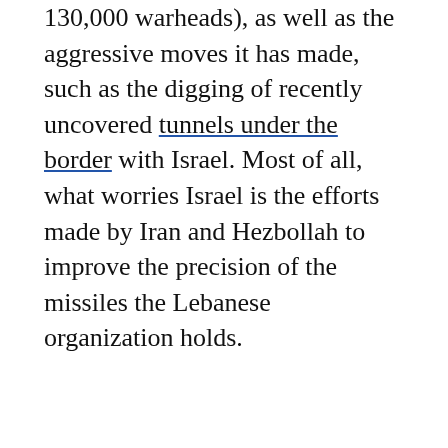130,000 warheads), as well as the aggressive moves it has made, such as the digging of recently uncovered tunnels under the border with Israel. Most of all, what worries Israel is the efforts made by Iran and Hezbollah to improve the precision of the missiles the Lebanese organization holds.
- Advertisment -
[Figure (other): Black advertisement placeholder block]
[Figure (other): Social sharing toolbar with Twitter, Facebook, bookmark, and email icons, and a circular blue Newsweek-style logo in the center]
[Figure (other): Green NEXT button with right arrow, and 'on Newz Online' text, with a circular X close button]